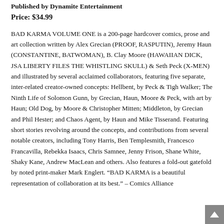Published by Dynamite Entertainment
Price: $34.99
BAD KARMA VOLUME ONE is a 200-page hardcover comics, prose and art collection written by Alex Grecian (PROOF, RASPUTIN), Jeremy Haun (CONSTANTINE, BATWOMAN), B. Clay Moore (HAWAIIAN DICK, JSA LIBERTY FILES THE WHISTLING SKULL) & Seth Peck (X-MEN) and illustrated by several acclaimed collaborators, featuring five separate, inter-related creator-owned concepts: Hellbent, by Peck & Tigh Walker; The Ninth Life of Solomon Gunn, by Grecian, Haun, Moore & Peck, with art by Haun; Old Dog, by Moore & Christopher Mitten; Middleton, by Grecian and Phil Hester; and Chaos Agent, by Haun and Mike Tisserand. Featuring short stories revolving around the concepts, and contributions from several notable creators, including Tony Harris, Ben Templesmith, Francesco Francavilla, Rebekka Isaacs, Chris Samnee, Jenny Frison, Shane White, Shaky Kane, Andrew MacLean and others. Also features a fold-out gatefold by noted print-maker Mark Englert. “BAD KARMA is a beautiful representation of collaboration at its best.” – Comics Alliance